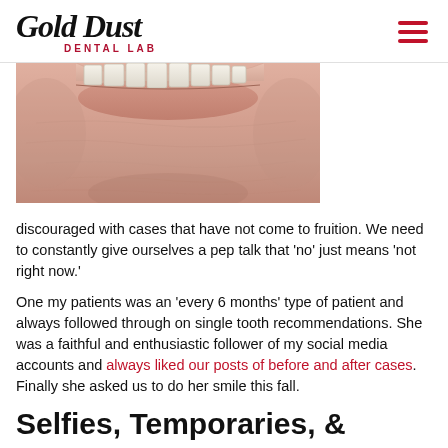Gold Dust DENTAL LAB
[Figure (photo): Close-up photo of a patient's mouth showing teeth and lips, clinical before/after dental case photo]
discouraged with cases that have not come to fruition. We need to constantly give ourselves a pep talk that ‘no’ just means ‘not right now.’
One my patients was an ‘every 6 months’ type of patient and always followed through on single tooth recommendations. She was a faithful and enthusiastic follower of my social media accounts and always liked our posts of before and after cases. Finally she asked us to do her smile this fall.
Selfies, Temporaries, &